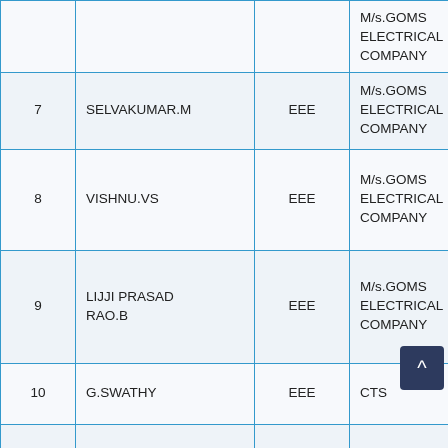| No. | Name | Dept | Company |
| --- | --- | --- | --- |
| 7 | SELVAKUMAR.M | EEE | M/s.GOMS ELECTRICAL COMPANY |
| 8 | VISHNU.VS | EEE | M/s.GOMS ELECTRICAL COMPANY |
| 9 | LIJJI PRASAD RAO.B | EEE | M/s.GOMS ELECTRICAL COMPANY |
| 10 | G.SWATHY | EEE | CTS |
| 11 | KUMARAN VENKATESAN | EEE | CTS |
| 12 | SARAVANAKUMAR | EEE | CTS |